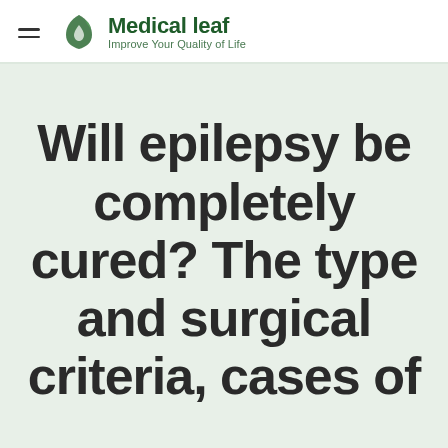Medical leaf — Improve Your Quality of Life
Will epilepsy be completely cured? The type and surgical criteria, cases of